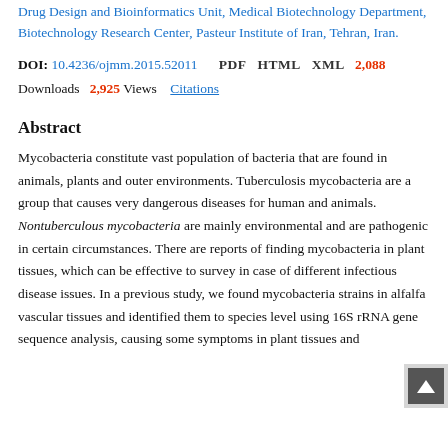Drug Design and Bioinformatics Unit, Medical Biotechnology Department, Biotechnology Research Center, Pasteur Institute of Iran, Tehran, Iran.
DOI: 10.4236/ojmm.2015.52011  PDF  HTML  XML  2,088 Downloads  2,925 Views  Citations
Abstract
Mycobacteria constitute vast population of bacteria that are found in animals, plants and outer environments. Tuberculosis mycobacteria are a group that causes very dangerous diseases for human and animals. Nontuberculous mycobacteria are mainly environmental and are pathogenic in certain circumstances. There are reports of finding mycobacteria in plant tissues, which can be effective to survey in case of different infectious disease issues. In a previous study, we found mycobacteria strains in alfalfa vascular tissues and identified them to species level using 16S rRNA gene sequence analysis, causing some symptoms in plant tissues and